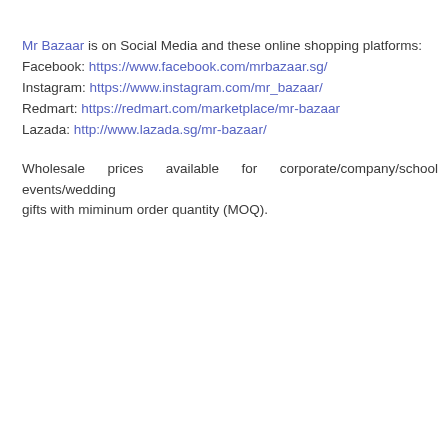Mr Bazaar is on Social Media and these online shopping platforms:
Facebook: https://www.facebook.com/mrbazaar.sg/
Instagram: https://www.instagram.com/mr_bazaar/
Redmart: https://redmart.com/marketplace/mr-bazaar
Lazada: http://www.lazada.sg/mr-bazaar/
Wholesale prices available for corporate/company/school events/wedding gifts with miminum order quantity (MOQ).